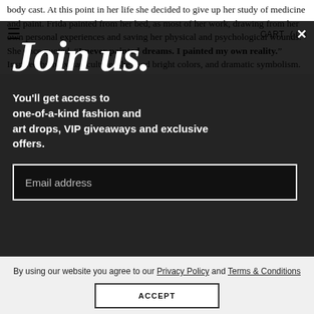body cast. At this point in her life she decided to give up her study of medicine and paint. Frida painted from her bed, as most of her work, drawing from her own personal experiences and saving her physical and psychological wounds. She once quoted, "I never painted dreams. I painted my own reality." Inspired by mexican culture, she used bright colors, and dramatic symbolism.
≡   CART (0)
Join us.
You'll get access to one-of-a-kind fashion and art drops, VIP giveaways and exclusive offers.
Email address
By using our website you agree to our Privacy Policy and Terms & Conditions
ACCEPT